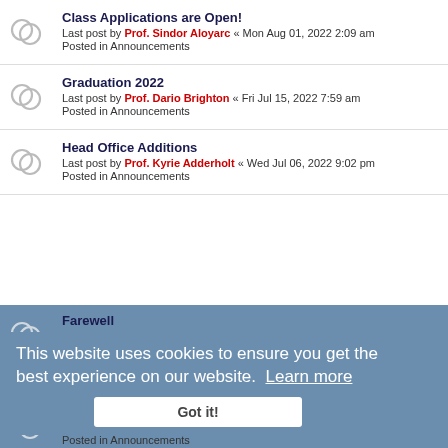Class Applications are Open! — Last post by Prof. Sindor Aloyarc « Mon Aug 01, 2022 2:09 am — Posted in Announcements
Graduation 2022 — Last post by Prof. Dario Brighton « Fri Jul 15, 2022 7:59 am — Posted in Announcements
Head Office Additions — Last post by Prof. Kyrie Adderholt « Wed Jul 06, 2022 9:02 pm — Posted in Announcements
Farewell — Last post by [author] « [date] 6:17 pm — Posted in Announcements
This website uses cookies to ensure you get the best experience on our website. Learn more
Spirit Points 2022 — Last post by Prof. Kyrie Adderholt « Fri Jul 01, 2022 10:42 pm — Posted in Announcements